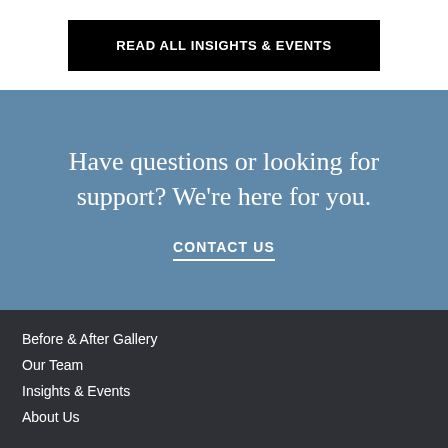READ ALL INSIGHTS & EVENTS
Have questions or looking for support? We're here for you.
CONTACT US
Before & After Gallery
Our Team
Insights & Events
About Us